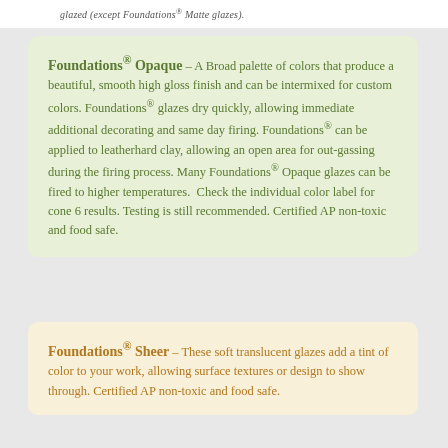glazed (except Foundations® Matte glazes).
Foundations® Opaque – A Broad palette of colors that produce a beautiful, smooth high gloss finish and can be intermixed for custom colors. Foundations® glazes dry quickly, allowing immediate additional decorating and same day firing. Foundations® can be applied to leatherhard clay, allowing an open area for out-gassing during the firing process. Many Foundations® Opaque glazes can be fired to higher temperatures.  Check the individual color label for cone 6 results. Testing is still recommended. Certified AP non-toxic and food safe.
Foundations® Sheer – These soft translucent glazes add a tint of color to your work, allowing surface textures or design to show through. Certified AP non-toxic and food safe.